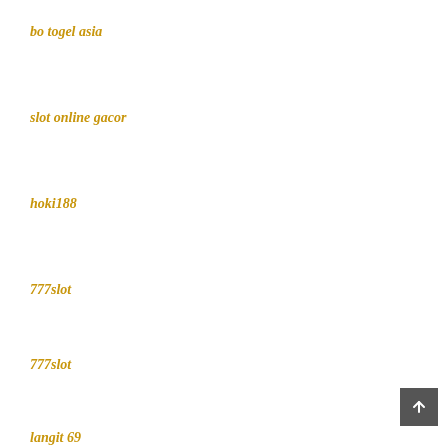bo togel asia
slot online gacor
hoki188
777slot
777slot
langit 69